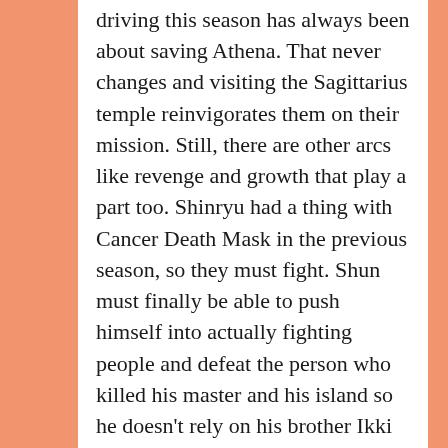driving this season has always been about saving Athena. That never changes and visiting the Sagittarius temple reinvigorates them on their mission. Still, there are other arcs like revenge and growth that play a part too. Shinryu had a thing with Cancer Death Mask in the previous season, so they must fight. Shun must finally be able to push himself into actually fighting people and defeat the person who killed his master and his island so he doesn't rely on his brother Ikki all the time. Same sort of Hyoga who Camus defeated his master and he wants revenge. Seiya has all of those motivations too because this is where he trained. All those sorts of motivations are sub things because they become the ideal no turning